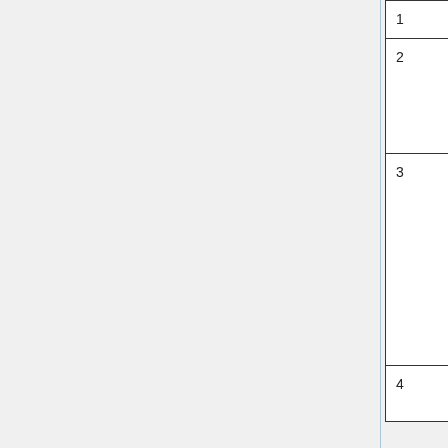| # | Option/Parameter | Description |
| --- | --- | --- |
| 1 | nothing | He... |
| 2 | Input_Opt%LEMIS | Se... tur... em... to t... em... |
| 3 | Input_Opt%HcoConfigFile | Th... the... co... file... em... inv... tha... si... use... this... |
| 4 | Input_Opt%LFIX_PBL_BrO | Se... set... |